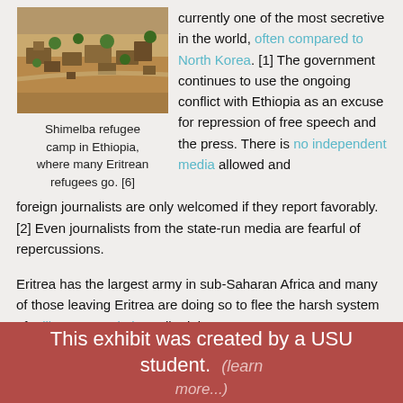[Figure (photo): Aerial/elevated view of Shimelba refugee camp in Ethiopia, showing brown earthen buildings and scattered trees in an arid landscape.]
Shimelba refugee camp in Ethiopia, where many Eritrean refugees go. [6]
currently one of the most secretive in the world, often compared to North Korea. [1] The government continues to use the ongoing conflict with Ethiopia as an excuse for repression of free speech and the press. There is no independent media allowed and foreign journalists are only welcomed if they report favorably. [2] Even journalists from the state-run media are fearful of repercussions.
Eritrea has the largest army in sub-Saharan Africa and many of those leaving Eritrea are doing so to flee the harsh system of military conscription. All adults are
This exhibit was created by a USU student. (learn more...)